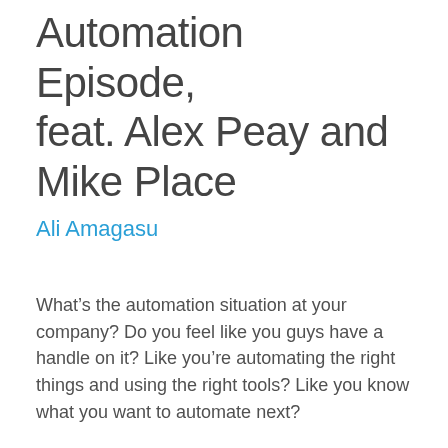Automation Episode, feat. Alex Peay and Mike Place
Ali Amagasu
What’s the automation situation at your company? Do you feel like you guys have a handle on it? Like you’re automating the right things and using the right tools? Like you know what you want to automate next?
I’m guessing that you probably do, but even so, I encourage you to tune in to this week’s episode of Cloud Unfiltered to hear what Alex Peay and Mike Place of SaltStack have to say about